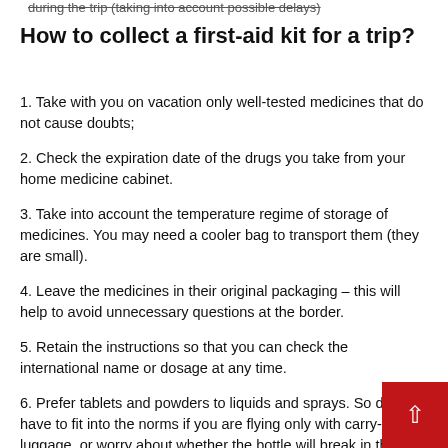during the trip (taking into account possible delays)
How to collect a first-aid kit for a trip?
1. Take with you on vacation only well-tested medicines that do not cause doubts;
2. Check the expiration date of the drugs you take from your home medicine cabinet.
3. Take into account the temperature regime of storage of medicines. You may need a cooler bag to transport them (they are small).
4. Leave the medicines in their original packaging – this will help to avoid unnecessary questions at the border.
5. Retain the instructions so that you can check the international name or dosage at any time.
6. Prefer tablets and powders to liquids and sprays. So don't have to fit into the norms if you are flying only with carry-on luggage, or worry about whether the bottle will break in the suitcase.